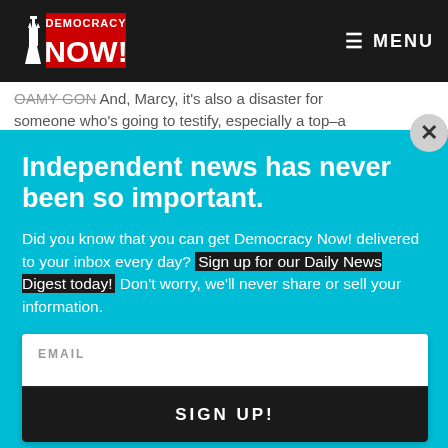Democracy Now! — MENU
...And, Marcy, it's also a disaster for someone who's going to testify, especially a top–a
Independent news has never been so important.
Did you know that you can get Democracy Now! delivered to your inbox every day? Sign up for our Daily News Digest today! Don't worry, we'll never share or sell your information.
EMAIL
SIGN UP!